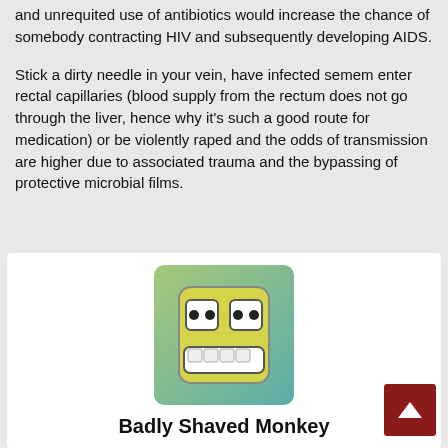and unrequited use of antibiotics would increase the chance of somebody contracting HIV and subsequently developing AIDS.
Stick a dirty needle in your vein, have infected semem enter rectal capillaries (blood supply from the rectum does not go through the liver, hence why it's such a good route for medication) or be violently raped and the odds of transmission are higher due to associated trauma and the bypassing of protective microbial films.
[Figure (illustration): Avatar image of a cartoon face with wide eyes and visible teeth on a yellow-green gradient square background]
Badly Shaved Monkey